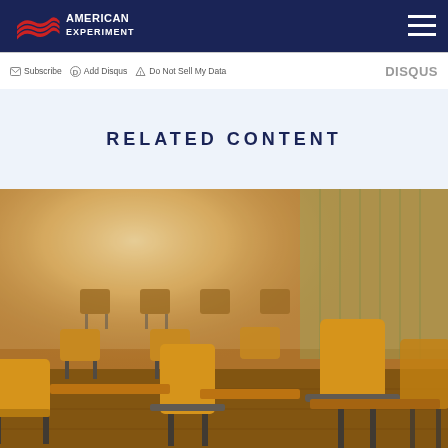American Experiment
Subscribe  Add Disqus  Do Not Sell My Data   DISQUS
RELATED CONTENT
[Figure (photo): Classroom with wooden chairs and desks arranged in rows, sunlight streaming through windows in the background]